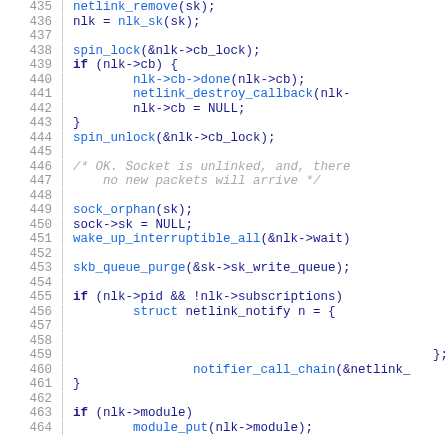[Figure (screenshot): Source code snippet showing C kernel netlink socket cleanup function, lines 435-464, with line numbers on left and syntax-highlighted code on right.]